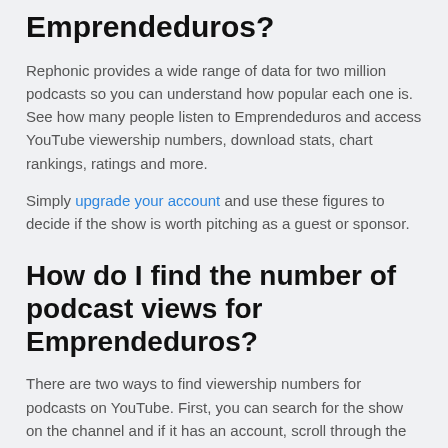Emprendeduros?
Rephonic provides a wide range of data for two million podcasts so you can understand how popular each one is. See how many people listen to Emprendeduros and access YouTube viewership numbers, download stats, chart rankings, ratings and more.
Simply upgrade your account and use these figures to decide if the show is worth pitching as a guest or sponsor.
How do I find the number of podcast views for Emprendeduros?
There are two ways to find viewership numbers for podcasts on YouTube. First, you can search for the show on the channel and if it has an account, scroll through the videos to see how many views it gets per episode.
Rephonic also pulls the total number of views for each podcast we find a YouTube account for. You can access these figures by upgrading your account and looking at a show's social media